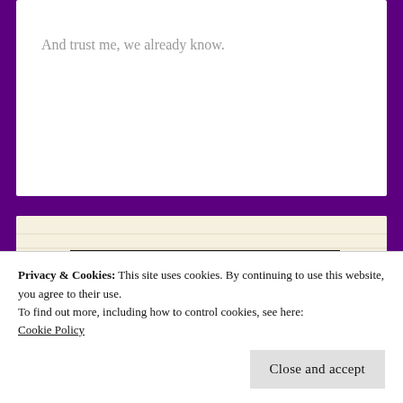And trust me, we already know.
[Figure (illustration): J.K. Pendragon author banner with dark forest/branch background and colorful NSP star logo, green text reading J.K. PENDRAGON]
Privacy & Cookies: This site uses cookies. By continuing to use this website, you agree to their use.
To find out more, including how to control cookies, see here:
Cookie Policy
Close and accept